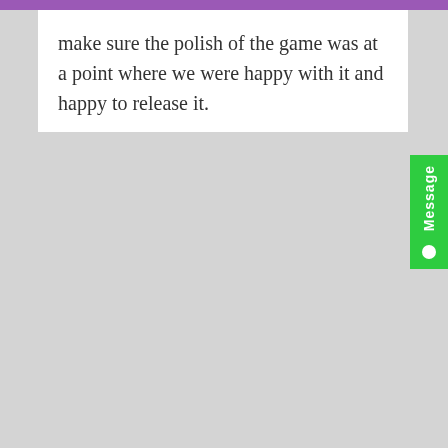make sure the polish of the game was at a point where we were happy with it and happy to release it.